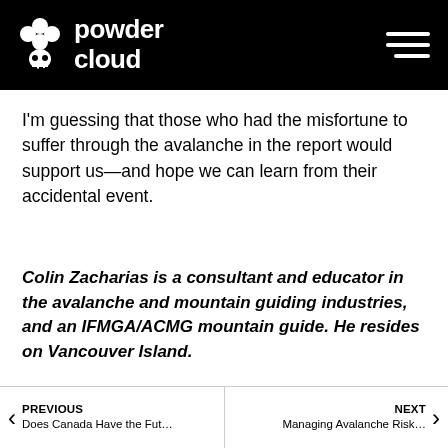powder cloud
I'm guessing that those who had the misfortune to suffer through the avalanche in the report would support us—and hope we can learn from their accidental event.
Colin Zacharias is a consultant and educator in the avalanche and mountain guiding industries, and an IFMGA/ACMG mountain guide. He resides on Vancouver Island.
PREVIOUS: Does Canada Have the Fut...  |  NEXT: Managing Avalanche Risk...